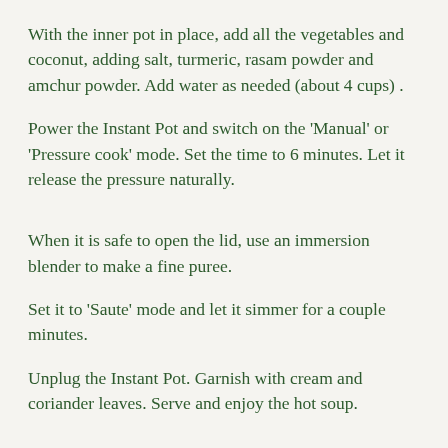With the inner pot in place, add all the vegetables and coconut, adding salt, turmeric, rasam powder and amchur powder. Add water as needed (about 4 cups) .
Power the Instant Pot and switch on the 'Manual' or 'Pressure cook' mode. Set the time to 6 minutes. Let it release the pressure naturally.
When it is safe to open the lid, use an immersion blender to make a fine puree.
Set it to 'Saute' mode and let it simmer for a couple minutes.
Unplug the Instant Pot. Garnish with cream and coriander leaves. Serve and enjoy the hot soup.